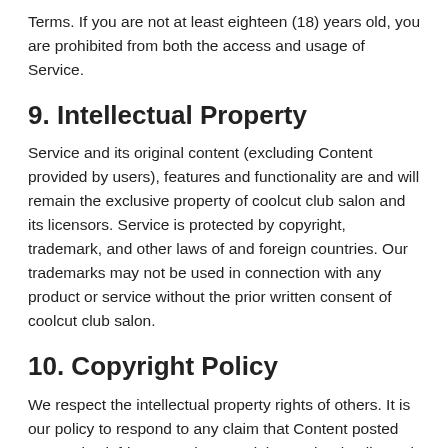Terms. If you are not at least eighteen (18) years old, you are prohibited from both the access and usage of Service.
9. Intellectual Property
Service and its original content (excluding Content provided by users), features and functionality are and will remain the exclusive property of coolcut club salon and its licensors. Service is protected by copyright, trademark, and other laws of and foreign countries. Our trademarks may not be used in connection with any product or service without the prior written consent of coolcut club salon.
10. Copyright Policy
We respect the intellectual property rights of others. It is our policy to respond to any claim that Content posted on Service infringes on the copyright or other intellectual property rights ("Infringement") of any person or entity.